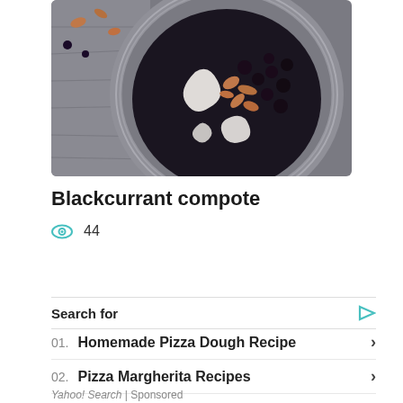[Figure (photo): Overhead photo of a dark bowl (blackcurrant compote) on a decorative silver plate, with cream/yogurt swirls, nuts, and blackcurrants, placed on a wooden surface.]
Blackcurrant compote
44
Search for
01. Homemade Pizza Dough Recipe
02. Pizza Margherita Recipes
Yahoo! Search | Sponsored